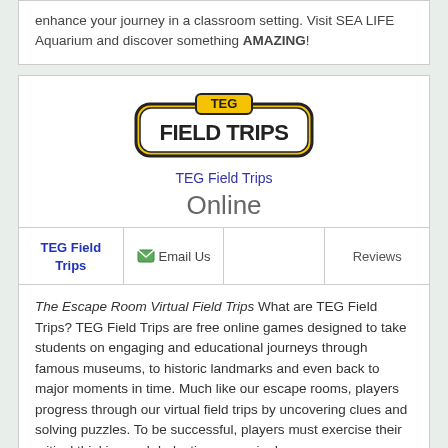enhance your journey in a classroom setting. Visit SEA LIFE Aquarium and discover something AMAZING!
[Figure (logo): TEG Field Trips logo — yellow and black rounded rectangle with 'FIELD TRIPS' in bold block letters and 'TEG' above in smaller text]
TEG Field Trips
Online
| TEG Field Trips | Email Us |  | Reviews |
| --- | --- | --- | --- |
The Escape Room Virtual Field Trips What are TEG Field Trips? TEG Field Trips are free online games designed to take students on engaging and educational journeys through famous museums, to historic landmarks and even back to major moments in time. Much like our escape rooms, players progress through our virtual field trips by uncovering clues and solving puzzles. To be successful, players must exercise their critical thinking and deductive reasoning!